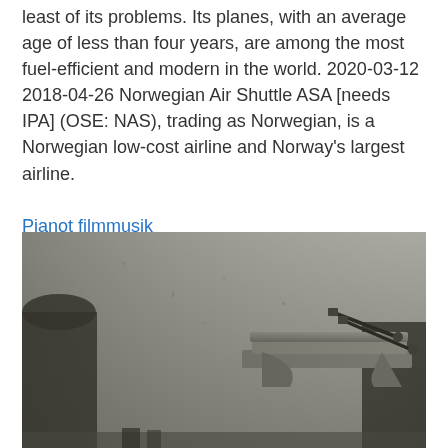least of its problems. Its planes, with an average age of less than four years, are among the most fuel-efficient and modern in the world. 2020-03-12 2018-04-26 Norwegian Air Shuttle ASA [needs IPA] (OSE: NAS), trading as Norwegian, is a Norwegian low-cost airline and Norway's largest airline.
Pianot filmmusik
[Figure (photo): Black and white photograph of an old stone building facade with ornate architectural details including a decorative canopy or balcony with metal brackets, weathered plaster walls, and dark doorways or windows visible at the sides.]